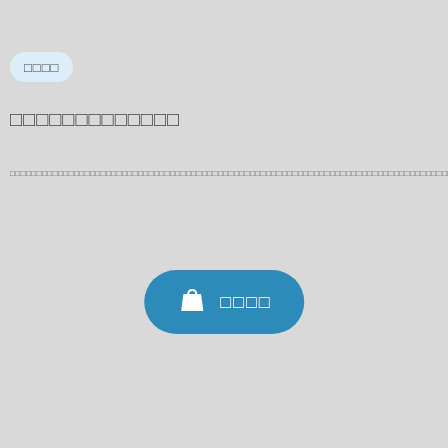□□□□
□□□□□□□□□□□□□
□□□□□□□□□□□□□□□□□□□□□□□□□□□□□□□□□□□□□□□□□□□□□□□□□□□□□□□□□□□□□□□□□□□□□□□□□□□□□□□□□□□□□□□□□□□□□□□□□□□□□□□□□□□□□□□□□□□□□□□□□□□□□□□□□□□□□□□□□□□□□□□□□□□□□□□□□□□□□□□□□□□□□□□□□□□□□□□□□□□□□□□□□□□□□□□□□□□□□□□□□□□□□□□□□□□□□□
□□□□□□□□□□□□□□□□□□□□□□□□□□□□□□□□□□□□